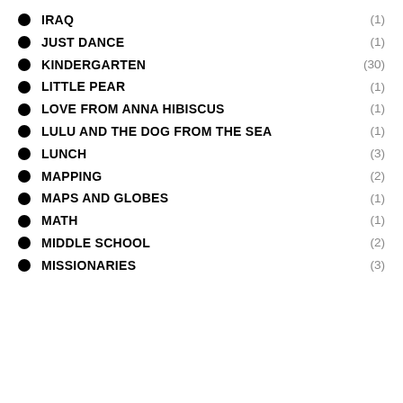IRAQ (1)
JUST DANCE (1)
KINDERGARTEN (30)
LITTLE PEAR (1)
LOVE FROM ANNA HIBISCUS (1)
LULU AND THE DOG FROM THE SEA (1)
LUNCH (3)
MAPPING (2)
MAPS AND GLOBES (1)
MATH (1)
MIDDLE SCHOOL (2)
MISSIONARIES (3)